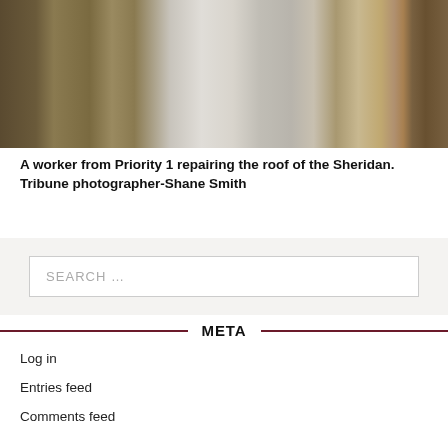[Figure (photo): A worker on top of or near a stone monument/obelisk, with weathered wooden barn boards and debris visible in the background, repairing the roof of the Sheridan.]
A worker from Priority 1 repairing the roof of the Sheridan. Tribune photographer-Shane Smith
SEARCH …
META
Log in
Entries feed
Comments feed